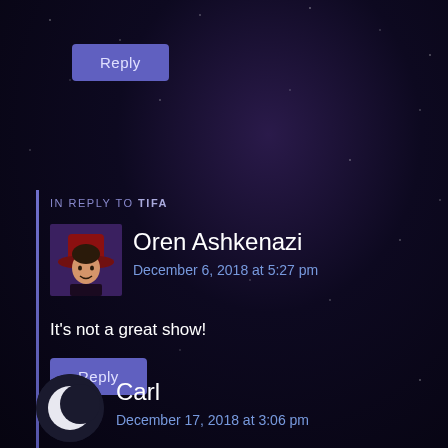[Figure (screenshot): Dark space/starfield background with purple nebula tones]
Reply
IN REPLY TO TIFA
[Figure (photo): Avatar of Oren Ashkenazi — person wearing a red hat, illustrated style]
Oren Ashkenazi
December 6, 2018 at 5:27 pm
It's not a great show!
Reply
[Figure (illustration): Avatar for Carl — crescent moon icon on dark background]
Carl
December 17, 2018 at 3:06 pm